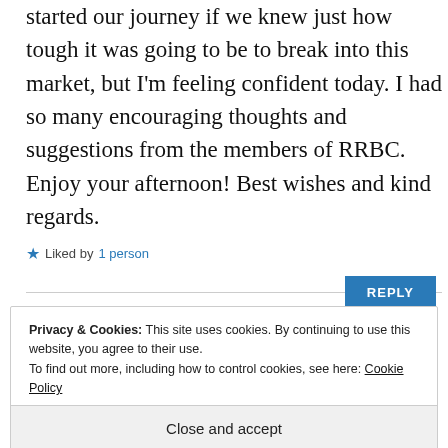started our journey if we knew just how tough it was going to be to break into this market, but I'm feeling confident today. I had so many encouraging thoughts and suggestions from the members of RRBC. Enjoy your afternoon! Best wishes and kind regards.
Liked by 1 person
REPLY
[Figure (photo): Partial avatar/profile photo visible at bottom of comment section]
Privacy & Cookies: This site uses cookies. By continuing to use this website, you agree to their use. To find out more, including how to control cookies, see here: Cookie Policy
Close and accept